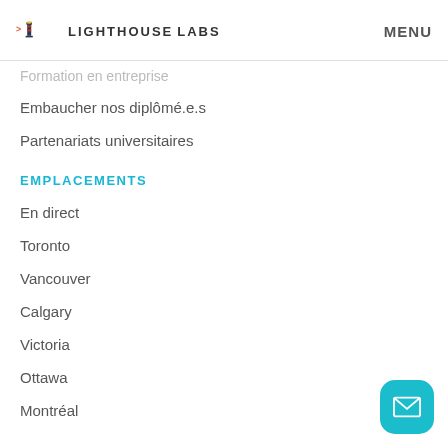LIGHTHOUSE LABS | MENU
Formation en entreprise
Embaucher nos diplômé.e.s
Partenariats universitaires
EMPLACEMENTS
En direct
Toronto
Vancouver
Calgary
Victoria
Ottawa
Montréal
LIGHTHOUSE LABS
Notre histoire
Projets d'impact